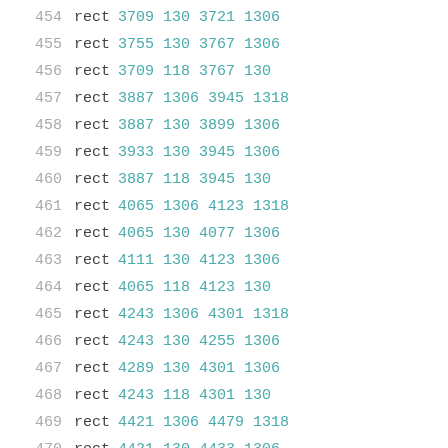454  rect 3709 130 3721 1306
455  rect 3755 130 3767 1306
456  rect 3709 118 3767 130
457  rect 3887 1306 3945 1318
458  rect 3887 130 3899 1306
459  rect 3933 130 3945 1306
460  rect 3887 118 3945 130
461  rect 4065 1306 4123 1318
462  rect 4065 130 4077 1306
463  rect 4111 130 4123 1306
464  rect 4065 118 4123 130
465  rect 4243 1306 4301 1318
466  rect 4243 130 4255 1306
467  rect 4289 130 4301 1306
468  rect 4243 118 4301 130
469  rect 4421 1306 4479 1318
470  rect 4421 130 4433 1306
471  rect 4467 130 4479 1306
472  rect 4421 118 4479 130
473  rect 4599 1306 4657 1318
474  rect 4599 130 4611 1306
475  rect 4645 130 4657 1306